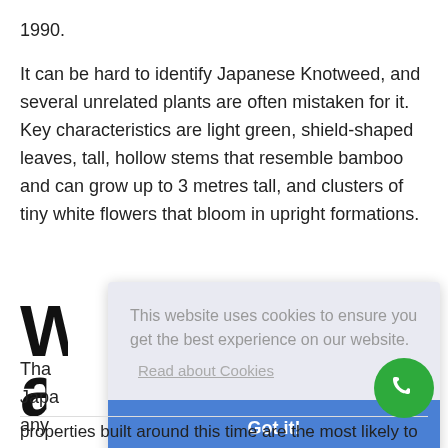1990.
It can be hard to identify Japanese Knotweed, and several unrelated plants are often mistaken for it. Key characteristics are light green, shield-shaped leaves, tall, hollow stems that resemble bamboo and can grow up to 3 metres tall, and clusters of tiny white flowers that bloom in upright formations.
W
af
Tha
Japa
any
pop
[Figure (screenshot): Cookie consent overlay with text 'This website uses cookies to ensure you get the best experience on our website.' and a 'Read about Cookies' link, plus a blue 'Got it!' button]
properties built around this time are the most likely to